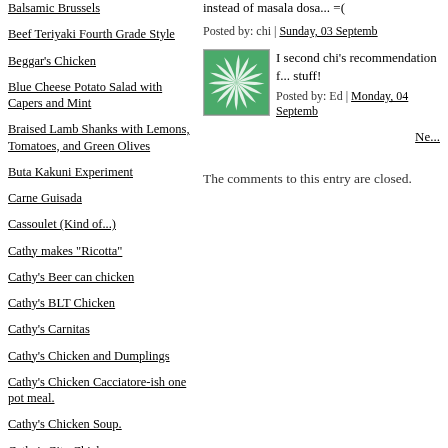Balsamic Brussels
Beef Teriyaki Fourth Grade Style
Beggar's Chicken
Blue Cheese Potato Salad with Capers and Mint
Braised Lamb Shanks with Lemons, Tomatoes, and Green Olives
Buta Kakuni Experiment
Carne Guisada
Cassoulet (Kind of...)
Cathy makes "Ricotta"
Cathy's Beer can chicken
Cathy's BLT Chicken
Cathy's Carnitas
Cathy's Chicken and Dumplings
Cathy's Chicken Cacciatore-ish one pot meal.
Cathy's Chicken Soup.
Cathy's City Chicken
instead of masala dosa... =(
Posted by: chi | Sunday, 03 Septemb...
[Figure (illustration): Green square avatar with spiral/pinwheel pattern]
I second chi's recommendation f... stuff!
Posted by: Ed | Monday, 04 Septemb...
Ne...
The comments to this entry are closed.